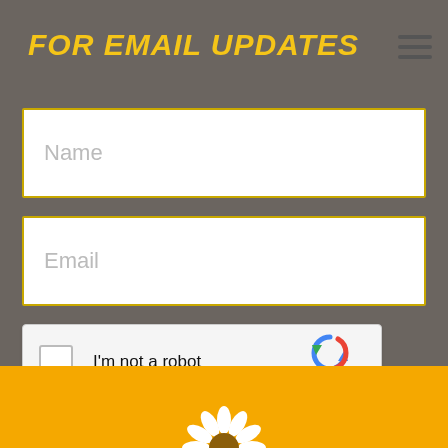FOR EMAIL UPDATES
[Figure (screenshot): Name input field with yellow border]
[Figure (screenshot): Email input field with yellow border]
[Figure (screenshot): reCAPTCHA widget with checkbox and 'I'm not a robot' text, reCAPTCHA logo, Privacy and Terms links]
[Figure (screenshot): SUBSCRIBE button in gold/amber color]
[Figure (screenshot): Yellow footer bar with partial sunflower logo]